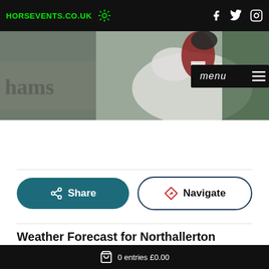HORSEVENTS.CO.UK
[Figure (photo): Horse show jumping photo: rider in red jacket on white horse, with Bonhams branding visible in background. Navigation bar with social icons (Facebook, Twitter, Instagram) and menu button overlay.]
Share
Navigate
Weather Forecast for Northallerton
0 entries £0.00